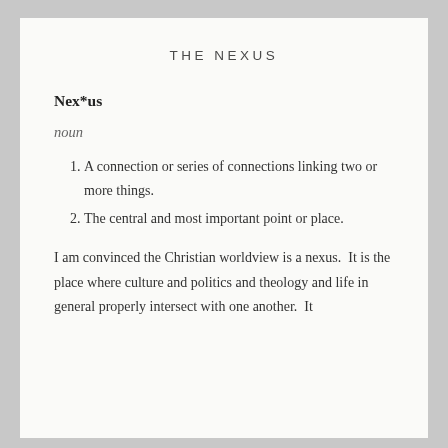THE NEXUS
Nex*us
noun
A connection or series of connections linking two or more things.
The central and most important point or place.
I am convinced the Christian worldview is a nexus.  It is the place where culture and politics and theology and life in general properly intersect with one another.  It